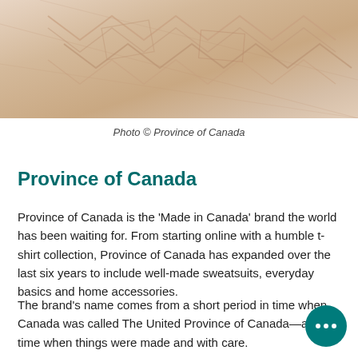[Figure (photo): Close-up photo of a woven rug with geometric zigzag/chevron patterns in light beige and pale pink tones]
Photo © Province of Canada
Province of Canada
Province of Canada is the 'Made in Canada' brand the world has been waiting for. From starting online with a humble t-shirt collection, Province of Canada has expanded over the last six years to include well-made sweatsuits, everyday basics and home accessories.
The brand's name comes from a short period in time when Canada was called The United Province of Canada—a time when things were made and with care.